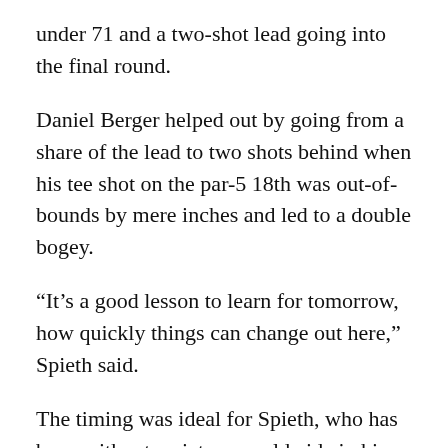under 71 and a two-shot lead going into the final round.
Daniel Berger helped out by going from a share of the lead to two shots behind when his tee shot on the par-5 18th was out-of-bounds by mere inches and led to a double bogey.
“It’s a good lesson to learn for tomorrow, how quickly things can change out here,” Spieth said.
The timing was ideal for Spieth, who has been without a victory worldwide in his last 79 events since he won the 2017 British Open at Royal